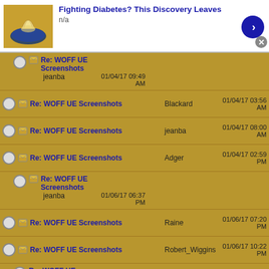[Figure (screenshot): Advertisement banner at top: food image thumbnail, title 'Fighting Diabetes? This Discovery Leaves', subtitle 'n/a', blue arrow button, grey X close button]
Re: WOFF UE Screenshots | jeanba | 01/04/17 09:49 AM
Re: WOFF UE Screenshots | Blackard | 01/04/17 03:56 AM
Re: WOFF UE Screenshots | jeanba | 01/04/17 08:00 AM
Re: WOFF UE Screenshots | Adger | 01/04/17 02:59 PM
Re: WOFF UE Screenshots | jeanba | 01/06/17 06:37 PM
Re: WOFF UE Screenshots | Raine | 01/06/17 07:20 PM
Re: WOFF UE Screenshots | Robert_Wiggins | 01/06/17 10:22 PM
Re: WOFF UE Screenshots | Fullofit | 01/06/17 11:00 PM
[Figure (screenshot): Advertisement banner at bottom: food image thumbnail, title 'Fighting Diabetes? This Discovery Leaves', subtitle 'n/a', blue arrow button, grey X close button]